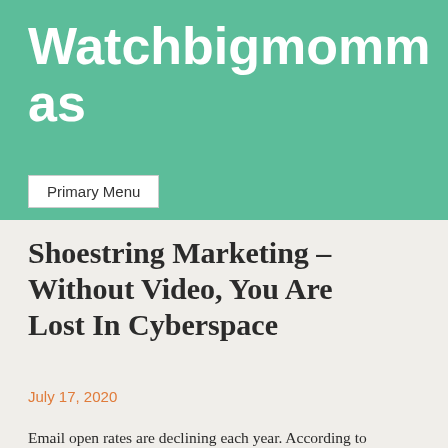Watchbigmommas
Primary Menu
Shoestring Marketing – Without Video, You Are Lost In Cyberspace
July 17, 2020
Email open rates are declining each year. According to